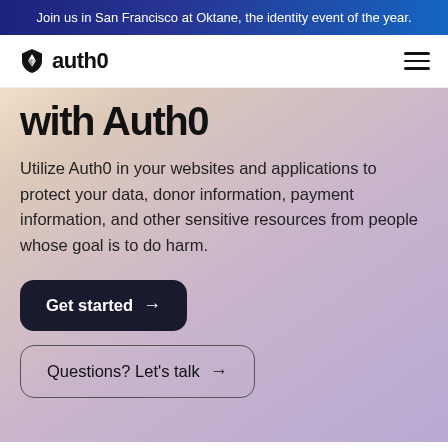Join us in San Francisco at Oktane, the identity event of the year.
[Figure (logo): Auth0 logo with shield icon and 'auth0' wordmark, plus hamburger menu icon]
with Auth0
Utilize Auth0 in your websites and applications to protect your data, donor information, payment information, and other sensitive resources from people whose goal is to do harm.
Get started →
Questions? Let's talk →